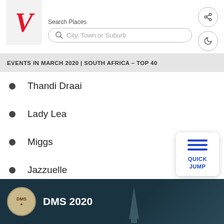V — Search Places — City, Town or Suburb
EVENTS IN MARCH 2020 | SOUTH AFRICA – TOP 40
Thandi Draai
Lady Lea
Miggs
Jazzuelle
Kat la Kat
Tim White
Ralf Gum
Just Mo
[Figure (photo): DMS 2020 event banner with dark teal background showing a tower structure]
QUICK JUMP